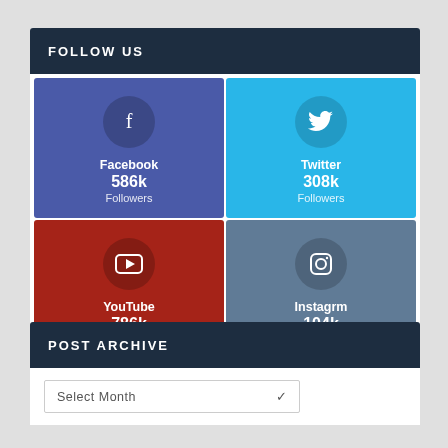FOLLOW US
[Figure (infographic): Social media follower counts widget showing Facebook 586k, Twitter 308k, YouTube 786k, Instagrm 104k followers in colored grid cells]
POST ARCHIVE
Select Month